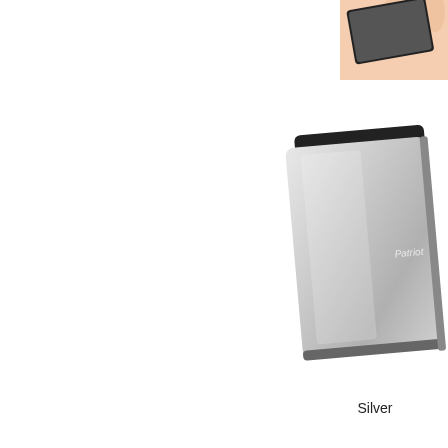[Figure (photo): A silver portable external hard drive (Patriot brand) shown with a hand above it on white background, with label 'Silver' below]
[Figure (infographic): Promotional box with dashed border on light gray background showing 'BEST SELLER' red badge, 'FREE SHIPPING' gold badge, a gift box icon, 'Back to School Sale' text in blue, and offer text about $80 purchase to get Accessory Pack as a gift]
Search by: - Select Language -